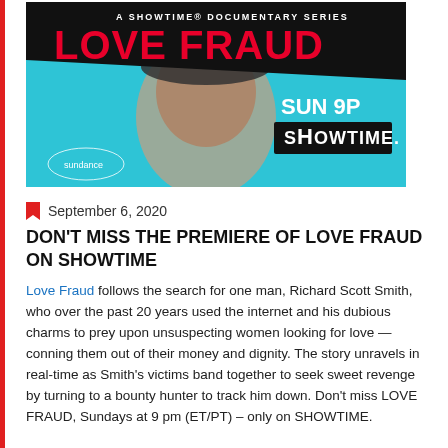[Figure (photo): Promotional poster for 'Love Fraud', a Showtime Documentary Series. Features a man's face against a teal background, with bold red 'LOVE FRAUD' text on a black diagonal banner. Text reads 'A SHOWTIME DOCUMENTARY SERIES', 'SUN 9P', 'SHOWTIME', and Sundance logo at bottom left.]
September 6, 2020
DON'T MISS THE PREMIERE OF LOVE FRAUD ON SHOWTIME
Love Fraud follows the search for one man, Richard Scott Smith, who over the past 20 years used the internet and his dubious charms to prey upon unsuspecting women looking for love — conning them out of their money and dignity. The story unravels in real-time as Smith's victims band together to seek sweet revenge by turning to a bounty hunter to track him down. Don't miss LOVE FRAUD, Sundays at 9 pm (ET/PT) – only on SHOWTIME.